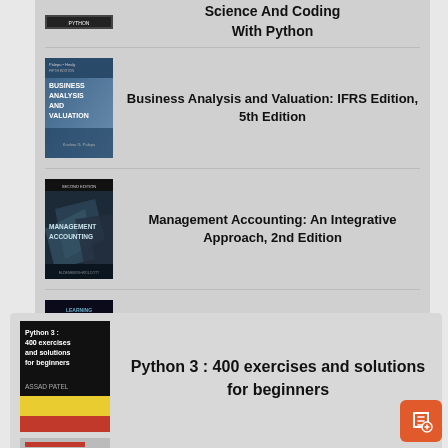[Figure (illustration): Book cover: Science And Coding With Python (partially visible at top)]
Science And Coding With Python
[Figure (illustration): Book cover: Business Analysis and Valuation IFRS Edition]
Business Analysis and Valuation: IFRS Edition, 5th Edition
[Figure (illustration): Book cover: Management Accounting Second Edition]
Management Accounting: An Integrative Approach, 2nd Edition
[Figure (illustration): Book cover: Learning Python Programming This Book Includes 3 Manuscripts]
Learning Python Programming: This Book Includes 3 Manuscripts
[Figure (illustration): Book cover: Python 3: 400 exercises and solutions for beginners by Assad Patel]
Python 3 : 400 exercises and solutions for beginners
[FREE EBOOK]EXCEL FOR ACCOUNTANTS